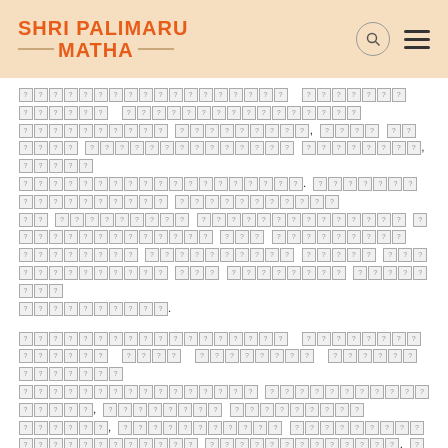SHRI PALIMARU MATHA
[Kannada/Sanskrit text rendered as tofu blocks - paragraph 1]
[Kannada/Sanskrit text rendered as tofu blocks - paragraph 2]
[Kannada/Sanskrit text rendered as tofu blocks - single line]
[Kannada/Sanskrit text rendered as tofu blocks - box section]